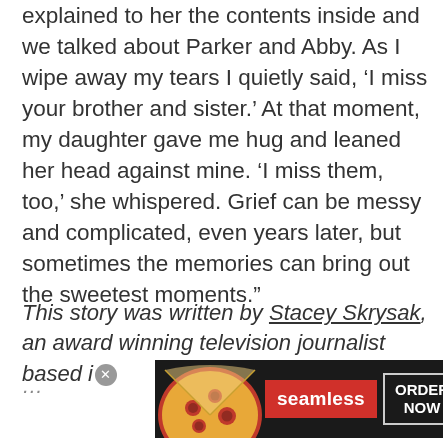explained to her the contents inside and we talked about Parker and Abby. As I wipe away my tears I quietly said, ‘I miss your brother and sister.’ At that moment, my daughter gave me hug and leaned her head against mine. ‘I miss them, too,’ she whispered. Grief can be messy and complicated, even years later, but sometimes the memories can bring out the sweetest moments.”
This story was written by Stacey Skrysak, an award winning television journalist based i...
[Figure (other): Seamless food delivery advertisement banner with pizza image on the left, red Seamless logo in center, and ORDER NOW button on the right against a dark background.]